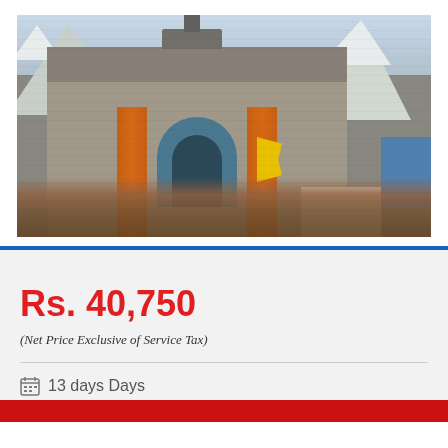[Figure (photo): Photograph of a Hindu temple (Kedarnath Temple) with ornate stone facade, colorful decorations, orange drapes, and a crowd of pilgrims in the foreground. Snow-capped mountains visible in the background.]
Rs. 40,750
(Net Price Exclusive of Service Tax)
13 days Days